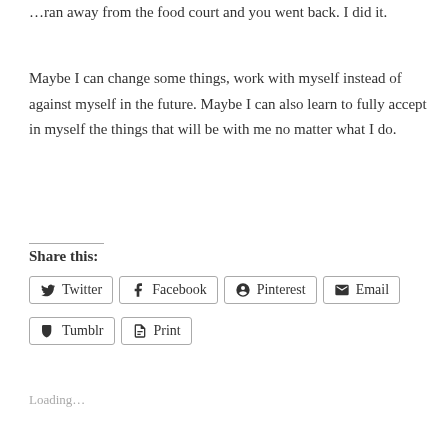…ran away from the food court and you went back. I did it.
Maybe I can change some things, work with myself instead of against myself in the future. Maybe I can also learn to fully accept in myself the things that will be with me no matter what I do.
Share this:
Twitter  Facebook  Pinterest  Email  Tumblr  Print
Loading…